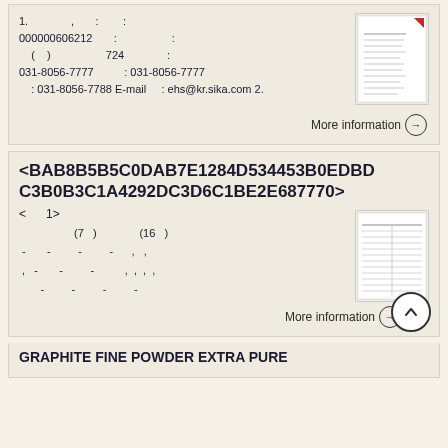1.    ,   :   : 000000606212  :   :  (  )   724   : 031-8056-7777   : 031-8056-7777   : 031-8056-7788 E-mail  : ehs@kr.sika.com 2.
More information →
<BAB8B5B5C0DAB7E1284D534453B0EDBD C3B0B3C1A4292DC3D6C1BE2E687770>
< 1> (7 ) (16 ) - - - - , , , - - - , , , , - - - -
More information →
GRAPHITE FINE POWDER EXTRA PURE